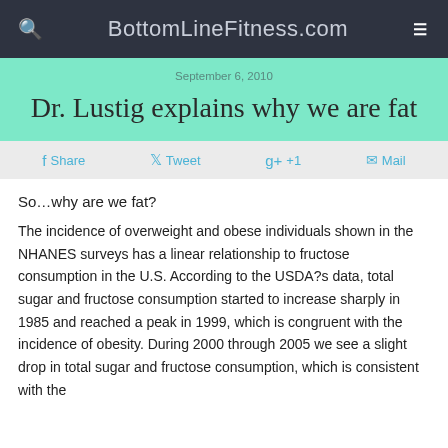BottomLineFitness.com
September 6, 2010
Dr. Lustig explains why we are fat
Share  Tweet  +1  Mail
So…why are we fat?
The incidence of overweight and obese individuals shown in the NHANES surveys has a linear relationship to fructose consumption in the U.S. According to the USDA?s data, total sugar and fructose consumption started to increase sharply in 1985 and reached a peak in 1999, which is congruent with the incidence of obesity. During 2000 through 2005 we see a slight drop in total sugar and fructose consumption, which is consistent with the